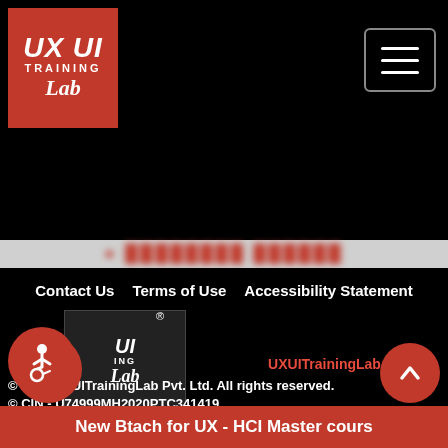[Figure (logo): UX UI Training Lab logo in red box, white text]
[Figure (screenshot): Hamburger menu button (three horizontal lines) with border]
[Figure (screenshot): Blurred red text banner on gray background]
Contact Us
Terms of Use
Accessibility Statement
[Figure (logo): Accessibility icon (person in wheelchair) on red circle, overlapping UX UI Training Lab footer logo with registered trademark]
UXUITrainingLab Pvt. Ltd.
© 2020 UXUITrainingLab Pvt. Ltd. All rights reserved.
© CIN - U74999MH2020PTC341419.
Design and Developed by : UXExpert
[Figure (screenshot): Red circular chat bubble button]
[Figure (screenshot): Red circular back-to-top arrow button]
New Btach for UX - HCI Master cours